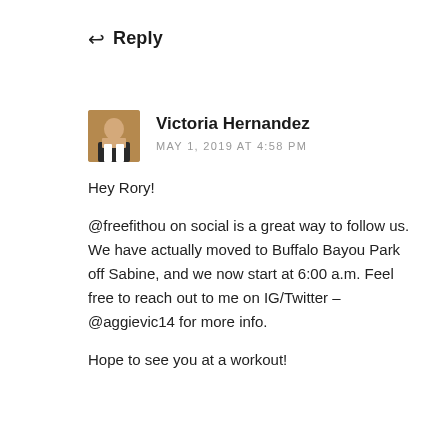↩ Reply
[Figure (photo): Small avatar photo of Victoria Hernandez, a woman in workout clothes]
Victoria Hernandez
MAY 1, 2019 AT 4:58 PM
Hey Rory!

@freefithou on social is a great way to follow us. We have actually moved to Buffalo Bayou Park off Sabine, and we now start at 6:00 a.m. Feel free to reach out to me on IG/Twitter – @aggievic14 for more info.

Hope to see you at a workout!